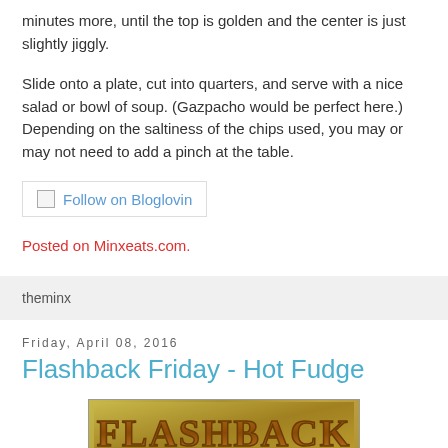minutes more, until the top is golden and the center is just slightly jiggly.
Slide onto a plate, cut into quarters, and serve with a nice salad or bowl of soup. (Gazpacho would be perfect here.) Depending on the saltiness of the chips used, you may or may not need to add a pinch at the table.
[Figure (other): Follow on Bloglovin button/link]
Posted on Minxeats.com.
theminx
Friday, April 08, 2016
Flashback Friday - Hot Fudge
[Figure (photo): Image showing the word FLASHBACK in stylized text on a golden/sandy background]